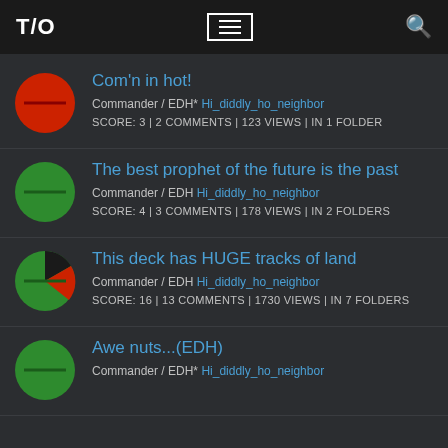T/O  ≡  🔍
Com'n in hot! | Commander / EDH* Hi_diddly_ho_neighbor | SCORE: 3 | 2 COMMENTS | 123 VIEWS | IN 1 FOLDER
The best prophet of the future is the past | Commander / EDH Hi_diddly_ho_neighbor | SCORE: 4 | 3 COMMENTS | 178 VIEWS | IN 2 FOLDERS
This deck has HUGE tracks of land | Commander / EDH Hi_diddly_ho_neighbor | SCORE: 16 | 13 COMMENTS | 1730 VIEWS | IN 7 FOLDERS
Awe nuts...(EDH) | Commander / EDH* Hi_diddly_ho_neighbor